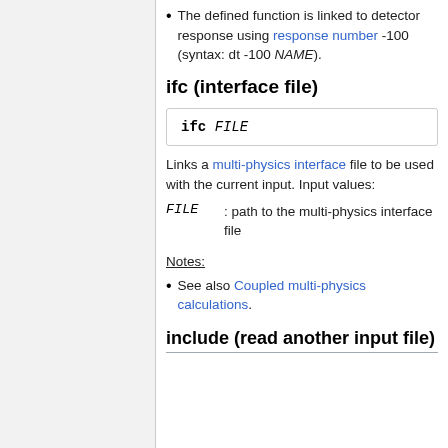The defined function is linked to detector response using response number -100 (syntax: dt -100 NAME).
ifc (interface file)
Links a multi-physics interface file to be used with the current input. Input values:
FILE : path to the multi-physics interface file
Notes:
See also Coupled multi-physics calculations.
include (read another input file)